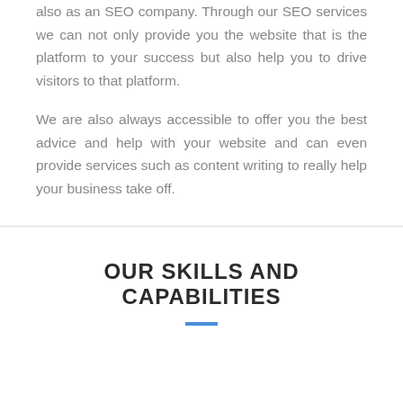also as an SEO company. Through our SEO services we can not only provide you the website that is the platform to your success but also help you to drive visitors to that platform.
We are also always accessible to offer you the best advice and help with your website and can even provide services such as content writing to really help your business take off.
OUR SKILLS AND CAPABILITIES